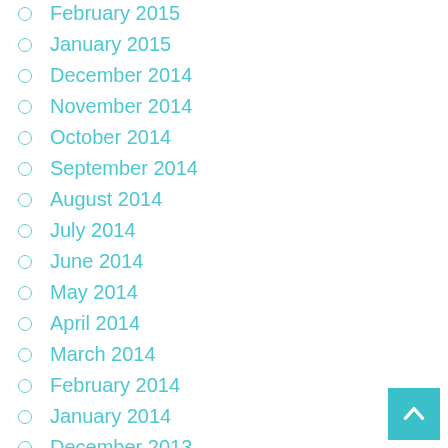February 2015
January 2015
December 2014
November 2014
October 2014
September 2014
August 2014
July 2014
June 2014
May 2014
April 2014
March 2014
February 2014
January 2014
December 2013
November 2013